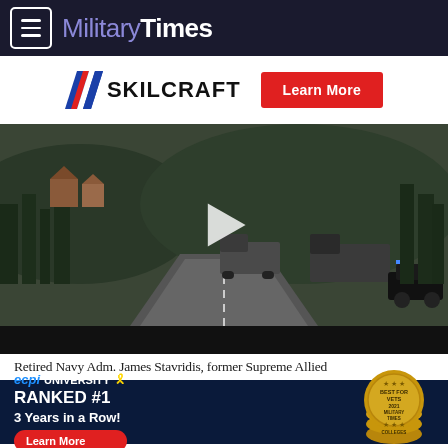Military Times
[Figure (logo): SKILCRAFT logo with diagonal chevron stripes in red/white/blue, and a red 'Learn More' button]
[Figure (screenshot): Video thumbnail showing military vehicles (trucks with equipment) driving on a road through a green hilly area, with a play button overlay]
Retired Navy Adm. James Stavridis, former Supreme Allied
[Figure (infographic): ECPI University advertisement: 'RANKED #1 3 Years in a Row!' with a Best for Vets 2021 Military Times Colleges badge and a Learn More button]